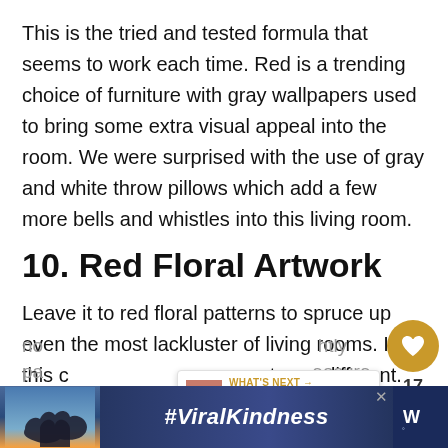This is the tried and tested formula that seems to work each time. Red is a trending choice of furniture with gray wallpapers used to bring some extra visual appeal into the room. We were surprised with the use of gray and white throw pillows which add a few more bells and whistles into this living room.
10. Red Floral Artwork
Leave it to red floral patterns to spruce up even the most lackluster of living rooms. In this c[ase things] are not very different. But if you think red florals are no[t right]... pa[ge continues]
[Figure (infographic): Ad banner at bottom: #ViralKindness with heart hands graphic and news logo, with close button]